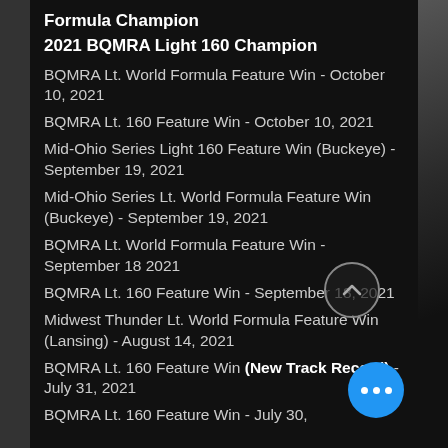Formula Champion
2021 BQMRA Light 160 Champion
BQMRA Lt. World Formula Feature Win - October 10, 2021
BQMRA Lt. 160 Feature Win - October 10, 2021
Mid-Ohio Series Light 160 Feature Win (Buckeye) - September 19, 2021
Mid-Ohio Series Lt. World Formula Feature Win (Buckeye) - September 19, 2021
BQMRA Lt. World Formula Feature Win - September 18 2021
BQMRA Lt. 160 Feature Win - September 18, 2021
Midwest Thunder Lt. World Formula Feature Win (Lansing) - August 14, 2021
BQMRA Lt. 160 Feature Win (New Track Record) - July 31, 2021
BQMRA Lt. 160 Feature Win - July 30, ...